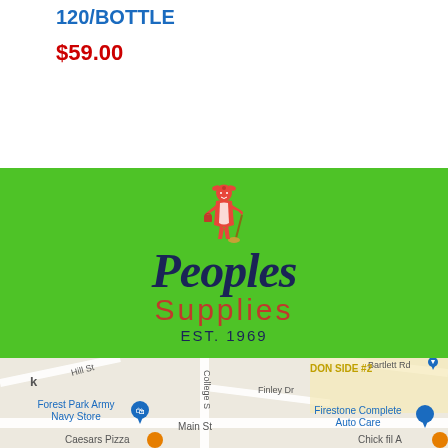120/BOTTLE
$59.00
[Figure (logo): Peoples Supplies EST. 1969 logo — cartoon maid figure in red above the word 'Peoples' in dark navy italic script, 'Supplies' in red block letters, 'EST. 1969' in navy below, all on a bright green background]
[Figure (map): Google Maps screenshot showing area with Forest Park Army Navy Store, Firestone Complete Auto Care, Caesars Pizza, Chick fil A, DON SIDE #2, streets including Hill St, College St, Finley Dr, Main St, Bartlett Rd]